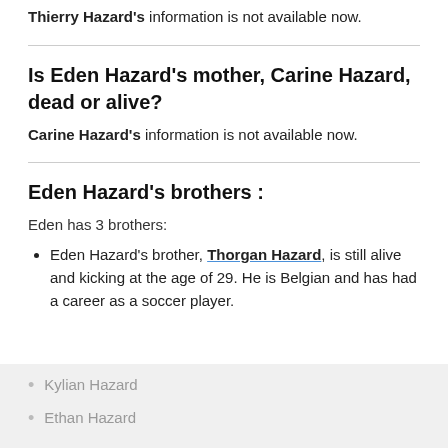Thierry Hazard's information is not available now.
Is Eden Hazard's mother, Carine Hazard, dead or alive?
Carine Hazard's information is not available now.
Eden Hazard's brothers :
Eden has 3 brothers:
Eden Hazard's brother, Thorgan Hazard, is still alive and kicking at the age of 29. He is Belgian and has had a career as a soccer player.
Kylian Hazard
Ethan Hazard